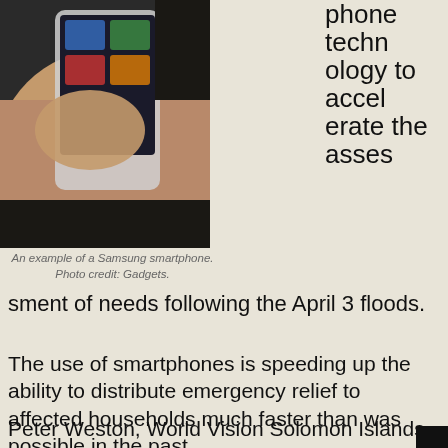[Figure (photo): A hand holding a Samsung smartphone, close-up photo.]
An example of a Samsung smartphone. Photo credit: Gadgets.
phone technology to accelerate the assessment of needs following the April 3 floods.
The use of smartphones is speeding up the ability to distribute emergency relief to affected households much faster than was possible in the past.
Peter Weston, World Vision Solomon Islands Program Quality Manager says, given the data is only entered once, it reduces the chance of error and information can